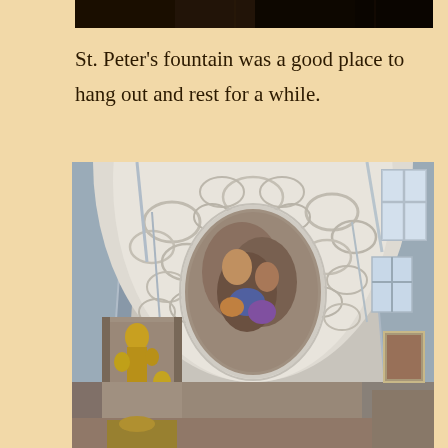[Figure (photo): Dark photograph of what appears to be a nighttime or dimly lit exterior scene, cropped to show just the top portion.]
St. Peter’s fountain was a good place to hang out and rest for a while.
[Figure (photo): Interior photograph of an ornate Baroque church, showing the vaulted ceiling with elaborate white stucco decorations and a central oval fresco with religious imagery. Gold statues and altarpieces are visible on the left side, and arched windows with light on the right. The perspective is looking upward along the nave.]